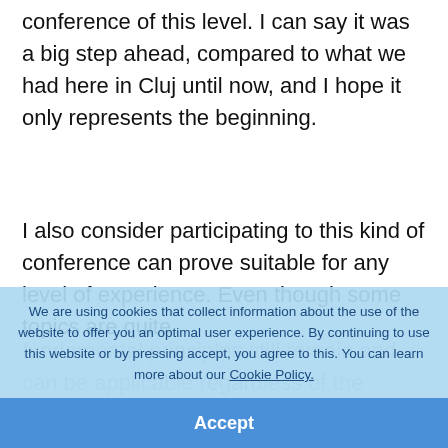conference of this level. I can say it was a big step ahead, compared to what we had here in Cluj until now, and I hope it only represents the beginning.
I also consider participating to this kind of conference can prove suitable for any level of experience. Even though some topics are quite
fundamental principles still remain and can be applicable regardless of the technology stack.
Moreover, socializing is an important aspect
We are using cookies that collect information about the use of the website to offer you an optimal user experience. By continuing to use this website or by pressing accept, you agree to this. You can learn more about our Cookie Policy.
Accept